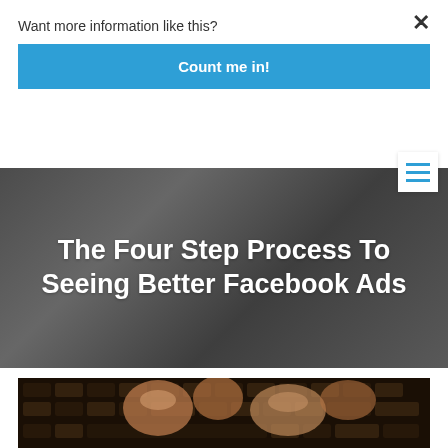Want more information like this?
Count me in!
The Four Step Process To Seeing Better Facebook Ads
[Figure (photo): Close-up photo of hands typing on a keyboard, blurred background]